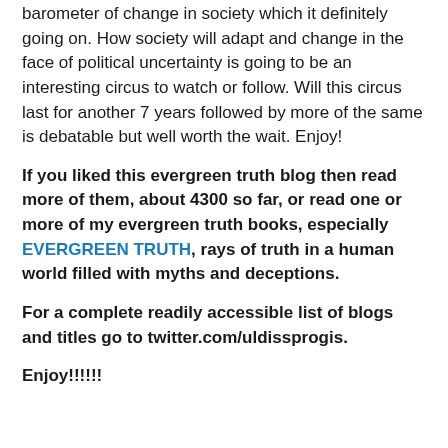barometer of change in society which it definitely going on. How society will adapt and change in the face of political uncertainty is going to be an interesting circus to watch or follow. Will this circus last for another 7 years followed by more of the same is debatable but well worth the wait. Enjoy!
If you liked this evergreen truth blog then read more of them, about 4300 so far, or read one or more of my evergreen truth books, especially EVERGREEN TRUTH, rays of truth in a human world filled with myths and deceptions.
For a complete readily accessible list of blogs and titles go to twitter.com/uldissprogis.
Enjoy!!!!!!